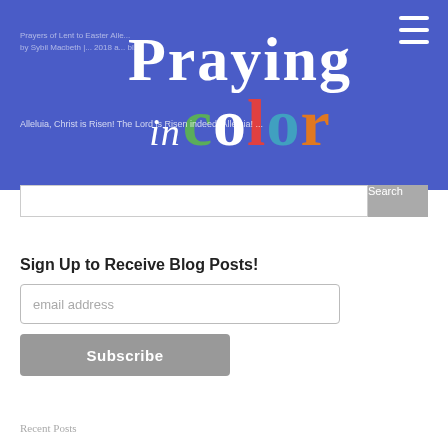[Figure (screenshot): Blue banner header with 'Praying in color' logo overlaid in large colorful text, hamburger menu icon top right, faint blog post text in background]
Prayers of Lent to Easter Alle... by Sybil Macbeth |... 2018 a... bl...
Alleluia, Christ is Risen! The Lord is Risen indeed! Alleluia! ...
Search
Sign Up to Receive Blog Posts!
email address
Subscribe
Recent Posts